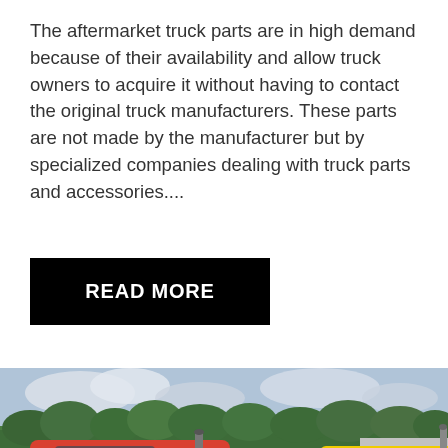The aftermarket truck parts are in high demand because of their availability and allow truck owners to acquire it without having to contact the original truck manufacturers. These parts are not made by the manufacturer but by specialized companies dealing with truck parts and accessories....
READ MORE
[Figure (photo): Photo of red and yellow semi trucks parked side by side outdoors with trees and cloudy sky in the background. A dark red circular scroll-up button with a white upward arrow is overlaid in the lower right.]